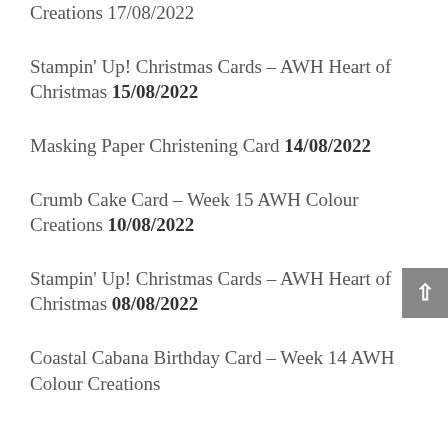Creations 17/08/2022
Stampin' Up! Christmas Cards – AWH Heart of Christmas 15/08/2022
Masking Paper Christening Card 14/08/2022
Crumb Cake Card – Week 15 AWH Colour Creations 10/08/2022
Stampin' Up! Christmas Cards – AWH Heart of Christmas 08/08/2022
Coastal Cabana Birthday Card – Week 14 AWH Colour Creations